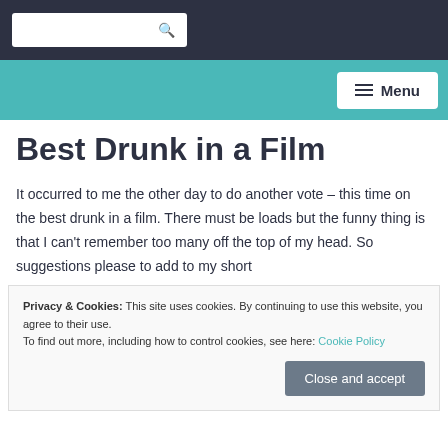Search bar and Menu navigation
Best Drunk in a Film
It occurred to me the other day to do another vote – this time on the best drunk in a film. There must be loads but the funny thing is that I can't remember too many off the top of my head. So suggestions please to add to my short
Privacy & Cookies: This site uses cookies. By continuing to use this website, you agree to their use. To find out more, including how to control cookies, see here: Cookie Policy
Close and accept